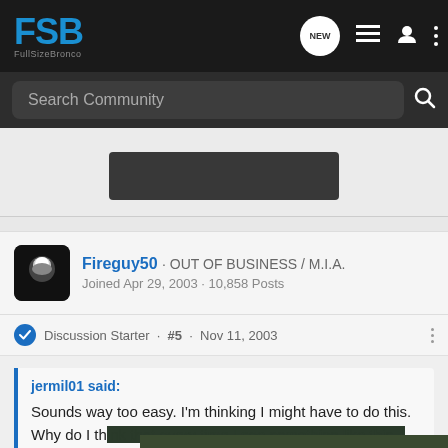FSB FullSizeBronco
Search Community
[Figure (other): Advertisement placeholder box - dark rectangle on light background]
Fireguy50 · OUT OF BUSINESS / M.I.A.
Joined Apr 29, 2003 · 10,858 Posts
Discussion Starter · #5 · Nov 11, 2003
jermil01 said:
Sounds way too easy. I'm thinking I might have to do this. Why do I think that every time I see something like this, I have to do on
[Figure (photo): Chevrolet Silverado 2022 advertisement banner with text THE NEW 2022 SILVERADO and Explore button with Chevrolet logo]